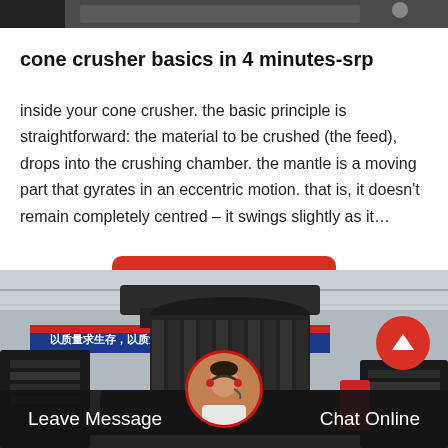[Figure (photo): Partial view of industrial machinery at top of page]
cone crusher basics in 4 minutes-srp
inside your cone crusher. the basic principle is straightforward: the material to be crushed (the feed), drops into the crushing chamber. the mantle is a moving part that gyrates in an eccentric motion. that is, it doesn't remain completely centred – it swings slightly as it…
[Figure (photo): Large cone crusher industrial machine in a factory setting with Chinese text banner in background]
Leave Message   Chat Online